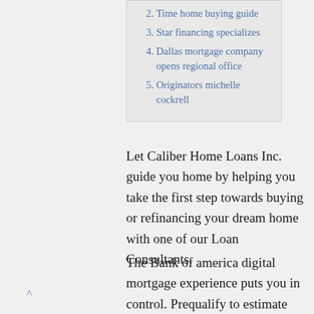2. Time home buying guide
3. Star financing specializes
4. Dallas mortgage company opens regional office
5. Originators michelle cockrell
Let Caliber Home Loans Inc. guide you home by helping you take the first step towards buying or refinancing your dream home with one of our Loan Consultants.
The Bank of america digital mortgage experience puts you in control. Prequalify to estimate how much you can borrow, apply for a new mortgage , or refinance your current home. All with customized terms that meet your needs.